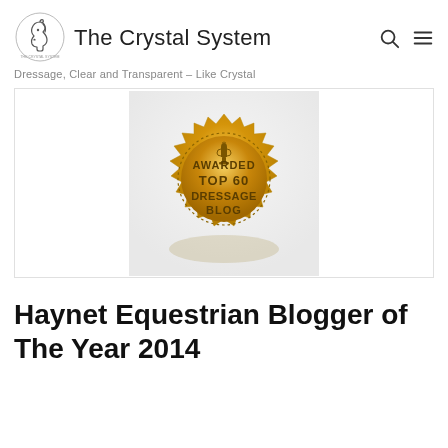The Crystal System
Dressage, Clear and Transparent – Like Crystal
[Figure (illustration): Gold badge/seal with scalloped edges and text: AWARDED TOP 60 DRESSAGE BLOG, with a trophy icon at top]
Haynet Equestrian Blogger of The Year 2014